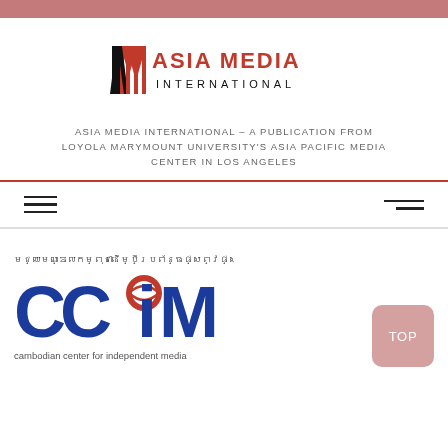[Figure (logo): Asia Media International logo with red and black stylized 'AM' letterform and text 'ASIA MEDIA INTERNATIONAL']
ASIA MEDIA INTERNATIONAL – A PUBLICATION FROM LOYOLA MARYMOUNT UNIVERSITY'S ASIA PACIFIC MEDIA CENTER IN LOS ANGELES
[Figure (illustration): Navigation bar with hamburger menu icon on left and two-line menu icon on right]
[Figure (logo): Cambodian Center for Independent Media (CCIM) logo with Khmer script text above, large blue CCIM letters with red globe graphic, and caption 'cambodian center for independent media']
TOP